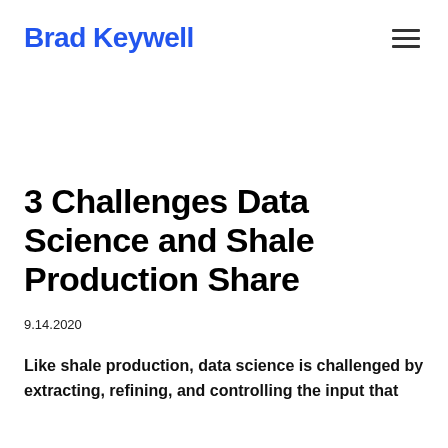Brad Keywell
3 Challenges Data Science and Shale Production Share
9.14.2020
Like shale production, data science is challenged by extracting, refining, and controlling the input that